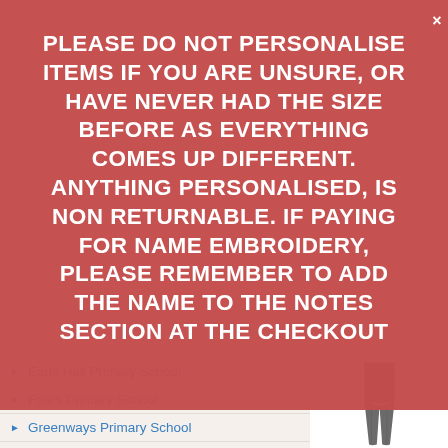PLEASE DO NOT PERSONALISE ITEMS IF YOU ARE UNSURE, OR HAVE NEVER HAD THE SIZE BEFORE AS EVERYTHING COMES UP DIFFERENT. ANYTHING PERSONALISED, IS NON RETURNABLE. IF PAYING FOR NAME EMBROIDERY, PLEASE REMEMBER TO ADD THE NAME TO THE NOTES SECTION AT THE CHECKOUT
Earls Hall Primary School
Friars Primary School
Greenways Primary School
Hamstel Infants
Hamstel Junior
[Figure (photo): Grey school trousers product image]